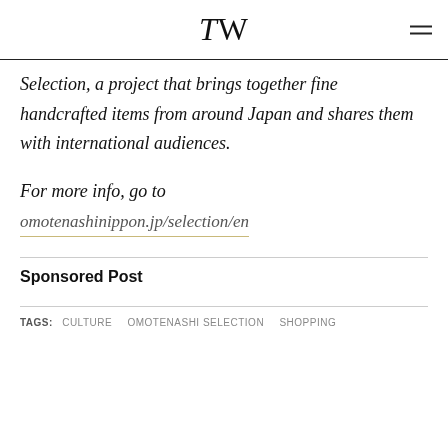TW
Selection, a project that brings together fine handcrafted items from around Japan and shares them with international audiences.
For more info, go to
omotenashinippon.jp/selection/en
Sponsored Post
TAGS:  CULTURE   OMOTENASHI SELECTION   SHOPPING